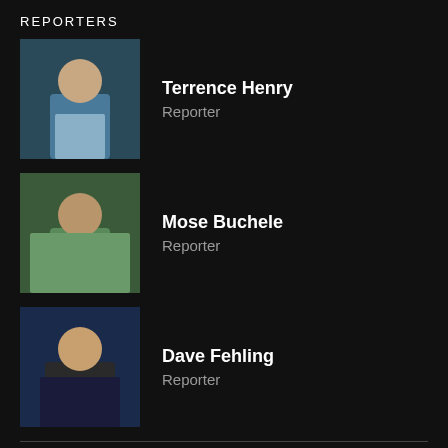REPORTERS
[Figure (photo): Headshot photo of Terrence Henry]
Terrence Henry
Reporter
[Figure (photo): Headshot photo of Mose Buchele]
Mose Buchele
Reporter
[Figure (photo): Headshot photo of Dave Fehling]
Dave Fehling
Reporter
PARTNERS
KUT
Austin, Texas
KUHF
Houston, Texas
© 2022 KUT